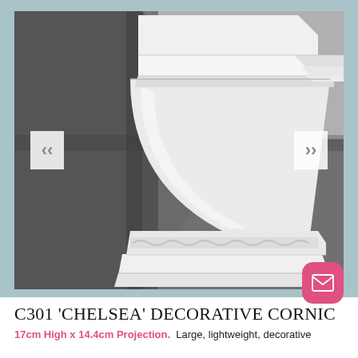[Figure (photo): White decorative cornice moulding installed at the ceiling-wall junction of a room corner. The cornice has ornate classical styling with a large concave profile, stepped edges, and a decorative egg-and-dart or acanthus leaf pattern along its lower edge. The room walls and ceiling are painted grey, creating contrast with the bright white moulding. Navigation arrows (< and >) appear on either side of the image.]
C301 'CHELSEA' DECORATIVE CORNIC
17cm High x 14.4cm Projection. Large, lightweight, decorative